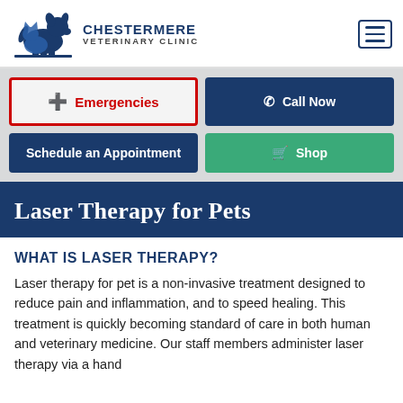[Figure (logo): Chestermere Veterinary Clinic logo with dog and cat silhouette in navy blue, clinic name in teal and dark blue text]
Emergencies
Call Now
Schedule an Appointment
Shop
Laser Therapy for Pets
WHAT IS LASER THERAPY?
Laser therapy for pet is a non-invasive treatment designed to reduce pain and inflammation, and to speed healing. This treatment is quickly becoming standard of care in both human and veterinary medicine. Our staff members administer laser therapy via a hand